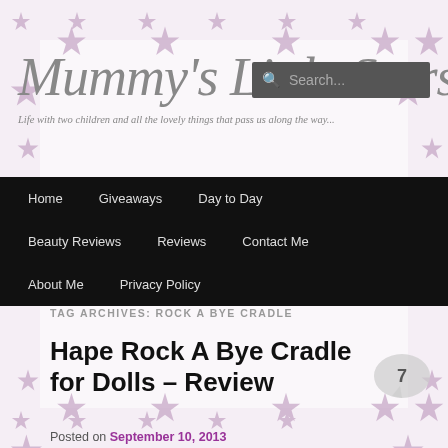[Figure (screenshot): Blog header with site title 'Mummy's Little Stars' in large italic grey script font, subtitle 'Life with two children and all the lovely things that pass us along the way...', and a dark search box overlay, all on a star-patterned pink/grey background border]
Mummy's Little Stars — Life with two children and all the lovely things that pass us along the way...
Home
Giveaways
Day to Day
Beauty Reviews
Reviews
Contact Me
About Me
Privacy Policy
TAG ARCHIVES: ROCK A BYE CRADLE
Hape Rock A Bye Cradle for Dolls – Review
Posted on September 10, 2013